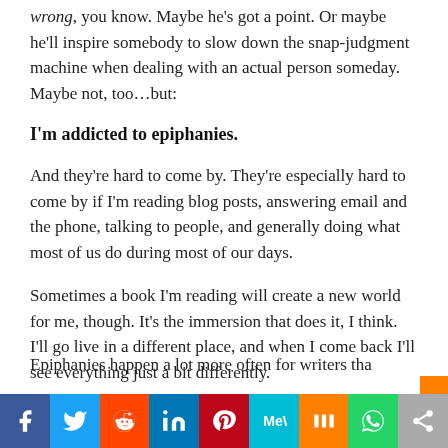wrong, you know. Maybe he's got a point. Or maybe he'll inspire somebody to slow down the snap-judgment machine when dealing with an actual person someday. Maybe not, too…but:
I'm addicted to epiphanies.
And they're hard to come by. They're especially hard to come by if I'm reading blog posts, answering email and the phone, talking to people, and generally doing what most of us do during most of our days.
Sometimes a book I'm reading will create a new world for me, though. It's the immersion that does it, I think. I'll go live in a different place, and when I come back I'll see everything just a bit differently.
Epiphanies happen a lot more often for writers tha
[Figure (infographic): Social sharing bar with Facebook, Twitter, Reddit, LinkedIn, Pinterest, MeWe, Mix, WhatsApp, and Share buttons]